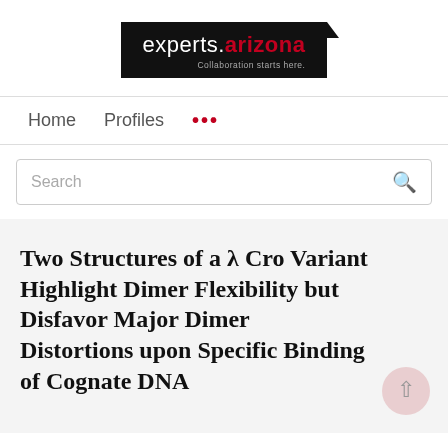[Figure (logo): experts.arizona logo with black background, red 'arizona' text, and tagline 'Collaboration starts here.']
Home   Profiles   ...
Search
Two Structures of a λ Cro Variant Highlight Dimer Flexibility but Disfavor Major Dimer Distortions upon Specific Binding of Cognate DNA